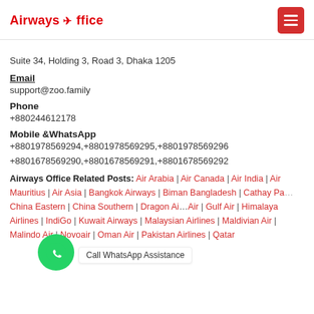Airways Office
Suite 34, Holding 3, Road 3, Dhaka 1205
Email
support@zoo.family
Phone
+880244612178
Mobile &WhatsApp
+8801978569294,+8801978569295,+8801978569296
+8801678569290,+8801678569291,+8801678569292
Airways Office Related Posts: Air Arabia | Air Canada | Air India | Air Mauritius | Air Asia | Bangkok Airways | Biman Bangladesh | Cathay Pacific | China Eastern | China Southern | Dragon Air | Emirates Air | Gulf Air | Himalaya Airlines | IndiGo | Kuwait Airways | Malaysian Airlines | Maldivian Air | Malindo Air | Novoair | Oman Air | Pakistan Airlines | Qatar